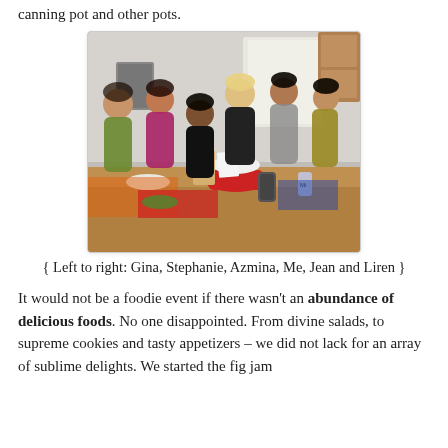canning pot and other pots.
[Figure (photo): Six women standing together in a kitchen around a counter filled with food, dishes, drinks, and cooking items. They are smiling and posing for the photo.]
{ Left to right: Gina, Stephanie, Azmina, Me, Jean and Liren }
It would not be a foodie event if there wasn't an abundance of delicious foods. No one disappointed. From divine salads, to supreme cookies and tasty appetizers – we did not lack for an array of sublime delights. We started the fig jam